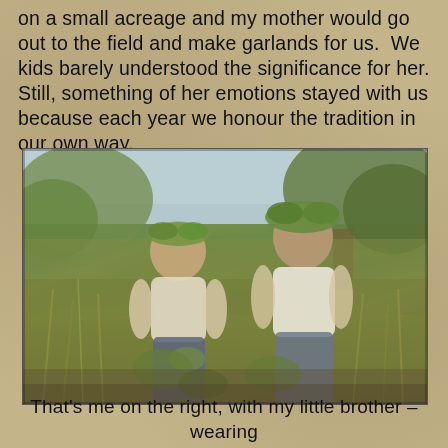on a small acreage and my mother would go out to the field and make garlands for us.  We kids barely understood the significance for her. Still, something of her emotions stayed with us because each year we honour the tradition in our own way.
[Figure (photo): Vintage photograph of two children standing in a field with tall grass and foliage, both wearing green leaf garlands/crowns on their heads. The child on the left is smaller and wearing a light-colored shirt. The child on the right is taller and also wearing a white shirt with jeans. The photo has an aged, slightly faded quality typical of older color photography.]
That's me on the right, with my little brother – wearing